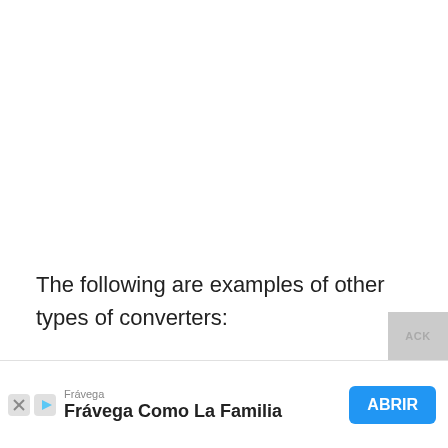The following are examples of other types of converters:
Convertor from a single 3.5mm to a
[Figure (other): Advertisement banner: Frávega Como La Familia with ABRIR button]